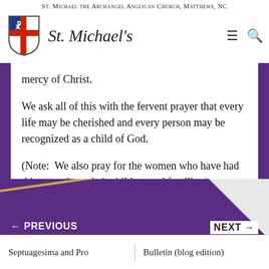St. Michael the Archangel Anglican Church, Matthews, NC
[Figure (logo): Episcopal Church shield logo with red cross and chi-rho symbol]
St. Michael's
mercy of Christ.
We ask all of this with the fervent prayer that every life may be cherished and every person may be recognized as a child of God.
(Note:  We also pray for the women who have had this procedure, their children and families.)
← PREVIOUS
NEXT →
Septuagesima and Pro
Bulletin (blog edition)